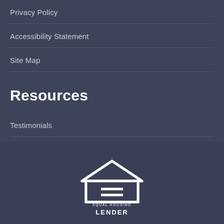Privacy Policy
Accessibility Statement
Site Map
Resources
Testimonials
[Figure (logo): Equal Housing Lender logo — white house outline with equal sign, text EQUAL HOUSING LENDER]
Powered By LenderHomePage.com